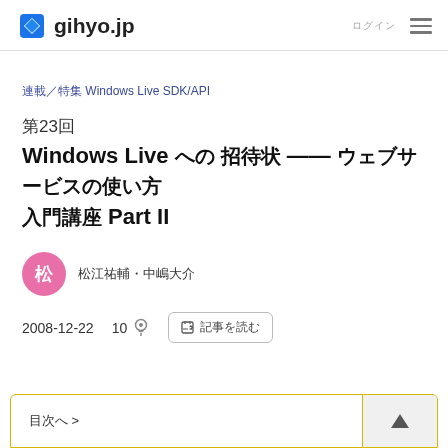gihyo.jp
連載／特集 Windows Live SDK/API
第23回
Windows Live への招待状 —— ウェブサービスの使い方 入門講座 Part II
松江祐輔・中嶋大介
2008-12-22  10  🔦  記事を読む
目次へ >